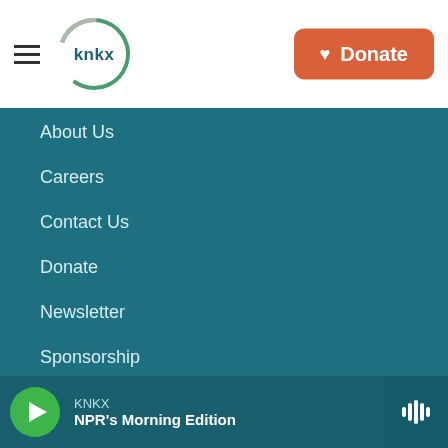KNKX logo and navigation header with Donate button
About Us
Careers
Contact Us
Donate
Newsletter
Sponsorship
Privacy Policy
FCC Public Files
KNKX — NPR's Morning Edition (audio player bar)